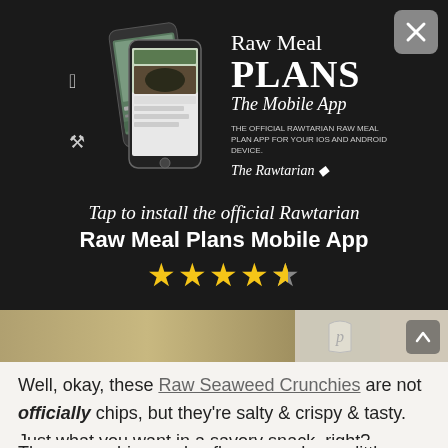[Figure (screenshot): Dark promotional banner for the Raw Meal Plans Mobile App showing phone mockups, Apple and Android icons, app title 'Raw Meal Plans The Mobile App', descriptive text, The Rawtarian signature, and a close (X) button in the top-right corner. Below the app image, italic text reads 'Tap to install the official Rawtarian' followed by bold 'Raw Meal Plans Mobile App' and a 4.5-star rating in yellow stars.]
[Figure (photo): Partial view of a food photograph (appears to show a snack/chip item) with a scroll-up arrow button on the right side.]
Well, okay, these Raw Seaweed Crunchies are not officially chips, but they're salty & crispy & tasty. Just what you want in a savory snack, right?
These crunchies pack a flavor punch so a little go a long way. And they store well, so it's a win-win!
Raw Seaweed C...